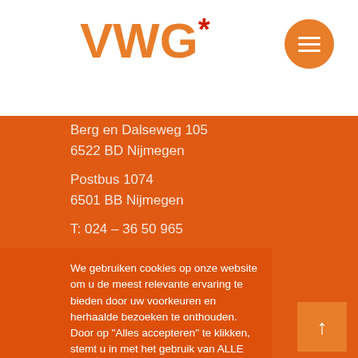[Figure (logo): VWG* logo in orange with red asterisk]
Berg en Dalseweg 105
6522 BD Nijmegen
Postbus 1074
6501 BB Nijmegen
T: 024 – 36 50 965
We gebruiken cookies op onze website om u de meest relevante ervaring te bieden door uw voorkeuren en herhaalde bezoeken te onthouden. Door op "Alles accepteren" te klikken, stemt u in met het gebruik van ALLE cookies.
Alles accepteren
Meer lezen
6064 EA Wijchen